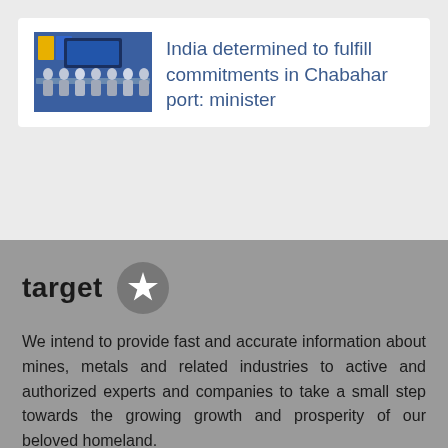[Figure (photo): News card with thumbnail image of a meeting/conference scene with people seated, and headline text]
India determined to fulfill commitments in Chabahar port: minister
target
We intend to provide fast and accurate information about mines, metals and related industries to active and authorized experts and companies to take a small step towards the growing growth and prosperity of our beloved homeland.
contact us